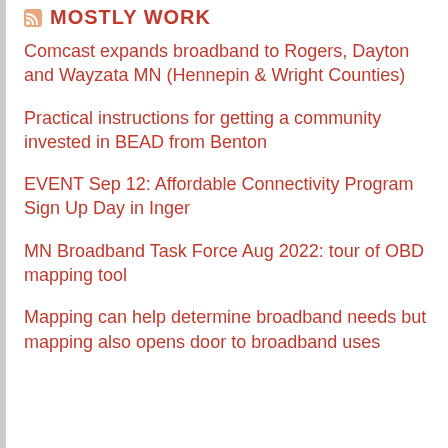MOSTLY WORK
Comcast expands broadband to Rogers, Dayton and Wayzata MN (Hennepin & Wright Counties)
Practical instructions for getting a community invested in BEAD from Benton
EVENT Sep 12: Affordable Connectivity Program Sign Up Day in Inger
MN Broadband Task Force Aug 2022: tour of OBD mapping tool
Mapping can help determine broadband needs but mapping also opens door to broadband uses